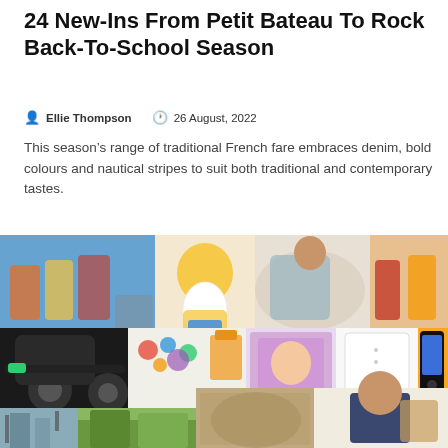24 New-Ins From Petit Bateau To Rock Back-To-School Season
Ellie Thompson   26 August, 2022
This season’s range of traditional French fare embraces denim, bold colours and nautical stripes to suit both traditional and contemporary tastes.
[Figure (photo): A collage of back-to-school products including children's clothing, toys, strollers, electronics, and fashion items from various brands.]